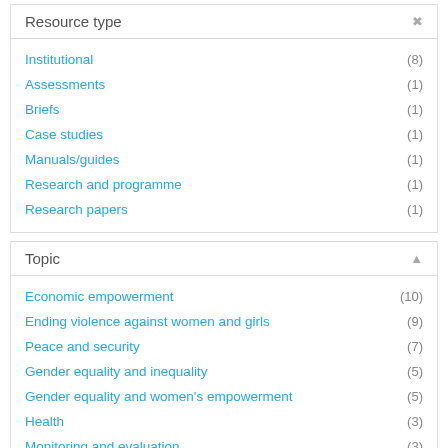Resource type
Institutional (8)
Assessments (1)
Briefs (1)
Case studies (1)
Manuals/guides (1)
Research and programme (1)
Research papers (1)
Topic
Economic empowerment (10)
Ending violence against women and girls (9)
Peace and security (7)
Gender equality and inequality (5)
Gender equality and women's empowerment (5)
Health (3)
Monitoring and evaluation (3)